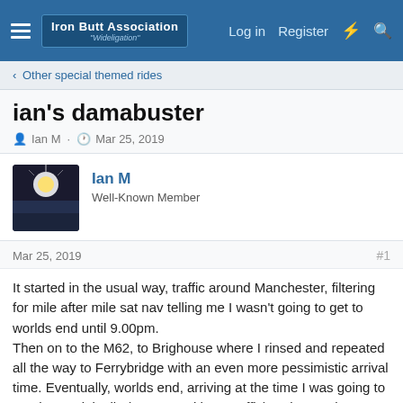Iron Butt Association | Log in | Register
< Other special themed rides
ian's damabuster
Ian M · Mar 25, 2019
Ian M
Well-Known Member
Mar 25, 2019   #1
It started in the usual way, traffic around Manchester, filtering for mile after mile sat nav telling me I wasn't going to get to worlds end until 9.00pm.
Then on to the M62, to Brighouse where I rinsed and repeated all the way to Ferrybridge with an even more pessimistic arrival time. Eventually, worlds end, arriving at the time I was going to get there originally (6.00 pm with no traffic), to be met by a Waddle of penguins and party guests – some people clearly got dressed in the dark.